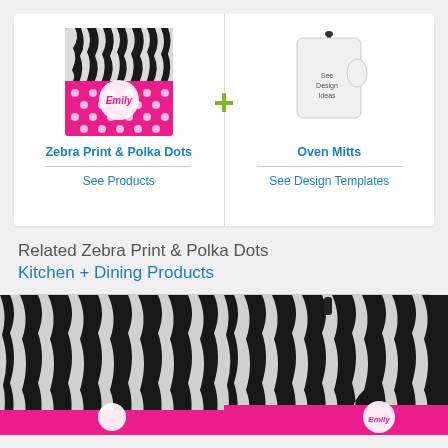[Figure (photo): Zebra Print and Polka Dots product image - pink and black zebra print with polka dots and 'Emily' text]
Zebra Print & Polka Dots
See Products
[Figure (photo): White oven mitt with 'See Design Ideas' text]
Oven Mitts
See Design Templates
Related Zebra Print & Polka Dots Kitchen + Dining Products
[Figure (photo): Zebra print kitchen item with pink and white circular design]
[Figure (photo): Zebra print oven mitt set with pink stripe and 'Emily' personalization]